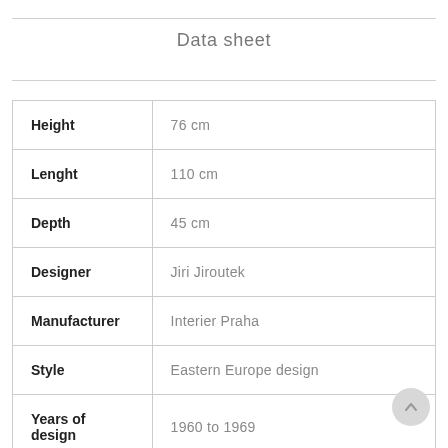Data sheet
| Property | Value |
| --- | --- |
| Height | 76 cm |
| Lenght | 110 cm |
| Depth | 45 cm |
| Designer | Jiri Jiroutek |
| Manufacturer | Interier Praha |
| Style | Eastern Europe design |
| Years of design | 1960 to 1969 |